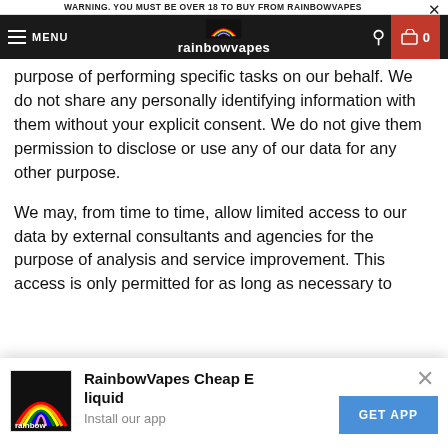Payment processing
WARNING. YOU MUST BE OVER 18 TO BUY FROM RAINBOWVAPES
[Figure (screenshot): RainbowVapes website navigation bar with hamburger menu, rainbow logo, search icon, and cart button showing 0 items]
purpose of performing specific tasks on our behalf. We do not share any personally identifying information with them without your explicit consent. We do not give them permission to disclose or use any of our data for any other purpose.
We may, from time to time, allow limited access to our data by external consultants and agencies for the purpose of analysis and service improvement. This access is only permitted for as long as necessary to
[Figure (screenshot): App install popup banner for RainbowVapes Cheap E liquid app with rainbow logo icon, app name, 'Install our app' subtitle, close button, and blue GET APP button]